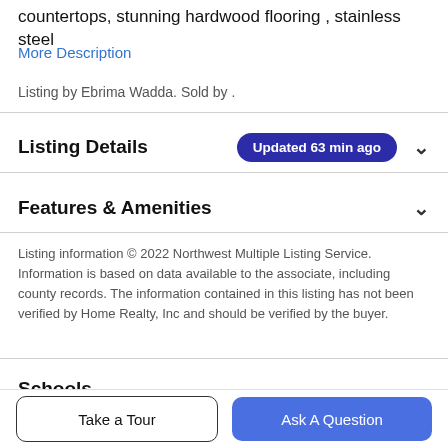countertops, stunning hardwood flooring , stainless steel
More Description
Listing by Ebrima Wadda. Sold by .
Listing Details  Updated 63 min ago
Features & Amenities
Listing information © 2022 Northwest Multiple Listing Service. Information is based on data available to the associate, including county records. The information contained in this listing has not been verified by Home Realty, Inc and should be verified by the buyer.
Schools
Take a Tour
Ask A Question